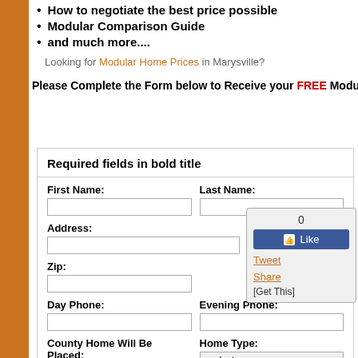How to negotiate the best price possible
Modular Comparison Guide
and much more....
Looking for Modular Home Prices in Marysville?
Please Complete the Form below to Receive your FREE Modular Homes G
Required fields in bold title
First Name:
Last Name:
Address:
City:
Zip:
Day Phone:
Evening Phone:
County Home Will Be Placed:
Home Type:
[Figure (screenshot): Social share widget showing 0 likes, Facebook Like button, Tweet link, Share link, and [Get This] link]